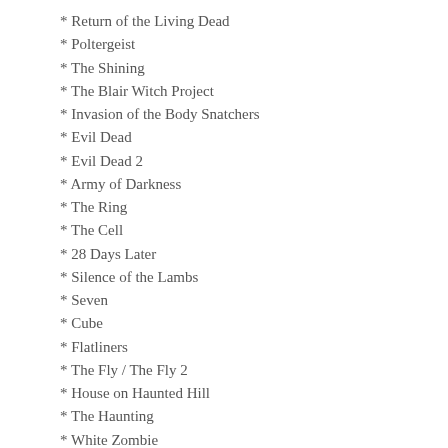* Return of the Living Dead
* Poltergeist
* The Shining
* The Blair Witch Project
* Invasion of the Body Snatchers
* Evil Dead
* Evil Dead 2
* Army of Darkness
* The Ring
* The Cell
* 28 Days Later
* Silence of the Lambs
* Seven
* Cube
* Flatliners
* The Fly / The Fly 2
* House on Haunted Hill
* The Haunting
* White Zombie